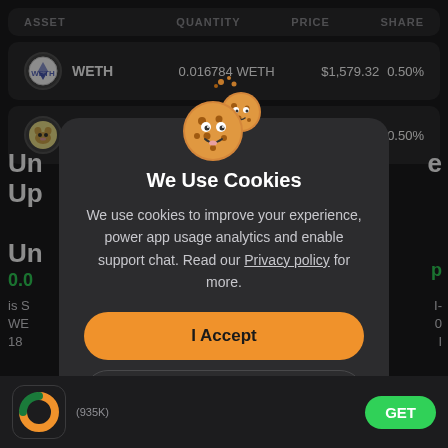| ASSET | QUANTITY | PRICE | SHARE |
| --- | --- | --- | --- |
| WETH | 0.016784 WETH | $1,579.32 | 0.50% |
| Corgi Inu | 10,01… | …0000000002385 | 0.50% |
[Figure (screenshot): Cookie consent modal dialog on a dark-themed crypto portfolio app. Shows cookie emoji illustration, 'We Use Cookies' title, descriptive text about cookies for analytics and support, with 'I Accept' (orange) and 'Manage' (dark outline) buttons.]
We Use Cookies
We use cookies to improve your experience, power app usage analytics and enable support chat. Read our Privacy policy for more.
I Accept
Manage
(935K)